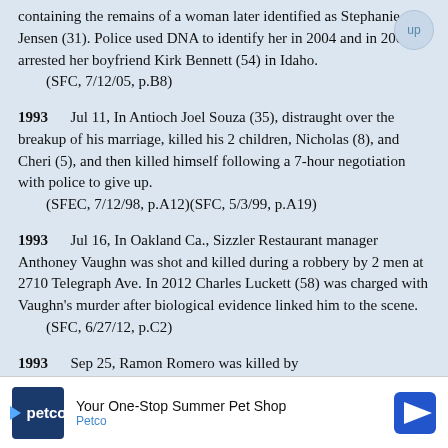containing the remains of a woman later identified as Stephanie Jensen (31). Police used DNA to identify her in 2004 and in 2005 arrested her boyfriend Kirk Bennett (54) in Idaho.
    (SFC, 7/12/05, p.B8)
1993    Jul 11, In Antioch Joel Souza (35), distraught over the breakup of his marriage, killed his 2 children, Nicholas (8), and Cheri (5), and then killed himself following a 7-hour negotiation with police to give up.
    (SFEC, 7/12/98, p.A12)(SFC, 5/3/99, p.A19)
1993    Jul 16, In Oakland Ca., Sizzler Restaurant manager Anthoney Vaughn was shot and killed during a robbery by 2 men at 2710 Telegraph Ave. In 2012 Charles Luckett (58) was charged with Vaughn’s murder after biological evidence linked him to the scene.
    (SFC, 6/27/12, p.C2)
1993    Sep 25, Ramon Romero was killed by
[Figure (other): Advertisement banner for Petco: 'Your One-Stop Summer Pet Shop' with Petco logo and navigation arrow icon]